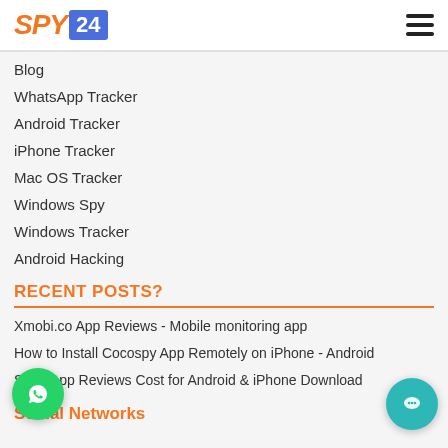SPY24
Blog
WhatsApp Tracker
Android Tracker
iPhone Tracker
Mac OS Tracker
Windows Spy
Windows Tracker
Android Hacking
RECENT POSTS?
Xmobi.co App Reviews - Mobile monitoring app
How to Install Cocospy App Remotely on iPhone - Android
Sp App Reviews Cost for Android & iPhone Download
Social Networks